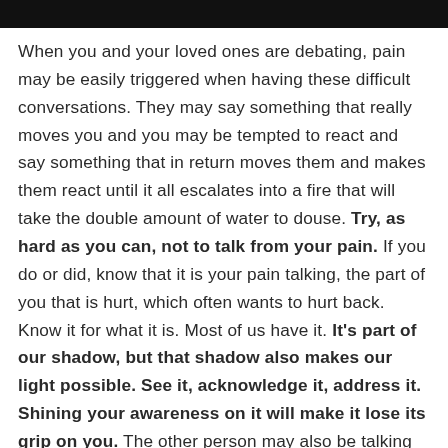When you and your loved ones are debating, pain may be easily triggered when having these difficult conversations. They may say something that really moves you and you may be tempted to react and say something that in return moves them and makes them react until it all escalates into a fire that will take the double amount of water to douse. Try, as hard as you can, not to talk from your pain. If you do or did, know that it is your pain talking, the part of you that is hurt, which often wants to hurt back. Know it for what it is. Most of us have it. It's part of our shadow, but that shadow also makes our light possible. See it, acknowledge it, address it. Shining your awareness on it will make it lose its grip on you. The other person may also be talking from his or her pain, that does not